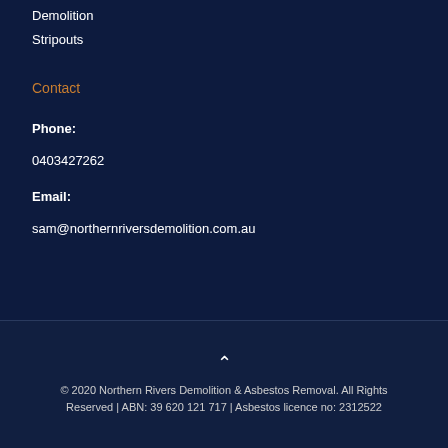Demolition
Stripouts
Contact
Phone:
0403427262
Email:
sam@northernriversdemolition.com.au
© 2020 Northern Rivers Demolition & Asbestos Removal. All Rights Reserved | ABN: 39 620 121 717 | Asbestos licence no: 2312522